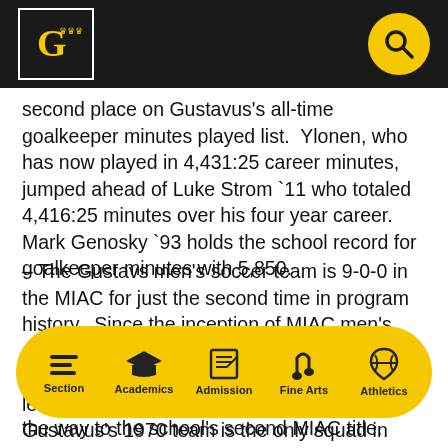Gustavus Adolphus College header with logo and search button
second place on Gustavus's all-time goalkeeper minutes played list.  Ylonen, who has now played in 4,431:25 career minutes, jumped ahead of Luke Strom `11 who totaled 4,416:25 minutes over his four year career.  Mark Genosky `93 holds the school record for goalkeeper minutes with 5,850.
– The Gustavs men's soccer team is 9-0-0 in the MIAC for just the second time in program history.  Since the inception of MIAC men's soccer in 1968, just one Gustavus team before this season has come out of its first nine league games with an unblemished record.  Gustavus's 1970 team is the only squad in history of the program to win the first nine games of their MIAC
Section | Academics | Admission | Fine Arts | Athletics
the way to the school's second MIAC title.